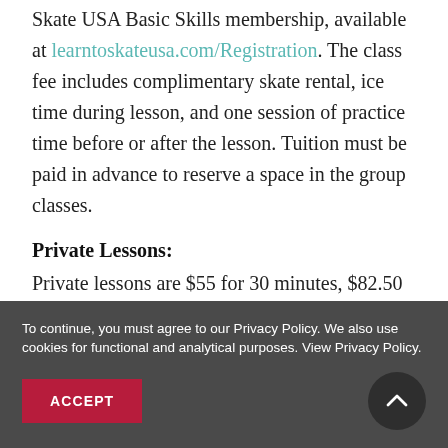Skate USA Basic Skills membership, available at learntoskateusa.com/Registration. The class fee includes complimentary skate rental, ice time during lesson, and one session of practice time before or after the lesson. Tuition must be paid in advance to reserve a space in the group classes.
Private Lessons:
Private lessons are $55 for 30 minutes, $82.50 for 45 minutes, and $110 for one hour. Skaters may schedule a private lesson by appointment seven days a week.
To continue, you must agree to our Privacy Policy. We also use cookies for functional and analytical purposes. View Privacy Policy.